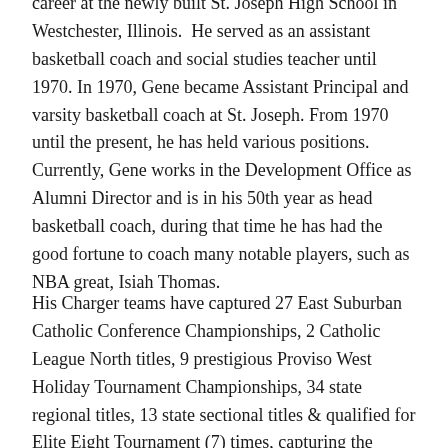career at the newly built St. Joseph High School in Westchester, Illinois.  He served as an assistant basketball coach and social studies teacher until 1970. In 1970, Gene became Assistant Principal and varsity basketball coach at St. Joseph. From 1970 until the present, he has held various positions. Currently, Gene works in the Development Office as Alumni Director and is in his 50th year as head basketball coach, during that time he has had the good fortune to coach many notable players, such as NBA great, Isiah Thomas.
His Charger teams have captured 27 East Suburban Catholic Conference Championships, 2 Catholic League North titles, 9 prestigious Proviso West Holiday Tournament Championships, 34 state regional titles, 13 state sectional titles & qualified for Elite Eight Tournament (7) times, capturing the